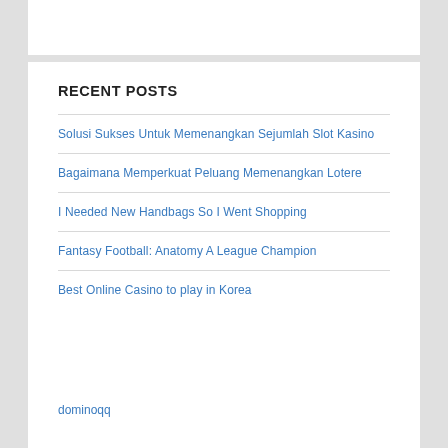RECENT POSTS
Solusi Sukses Untuk Memenangkan Sejumlah Slot Kasino
Bagaimana Memperkuat Peluang Memenangkan Lotere
I Needed New Handbags So I Went Shopping
Fantasy Football: Anatomy A League Champion
Best Online Casino to play in Korea
dominoqq